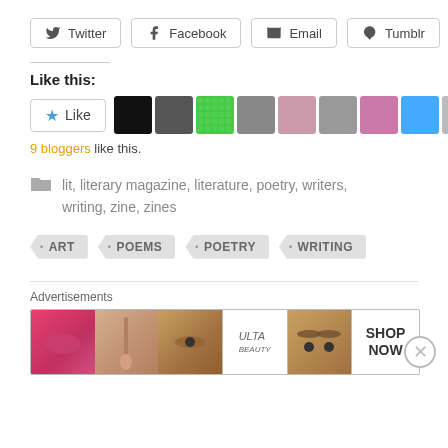Twitter  Facebook  Email  Tumblr
Like this:
9 bloggers like this.
lit, literary magazine, literature, poetry, writers, writing, zine, zines
ART
POEMS
POETRY
WRITING
Advertisements